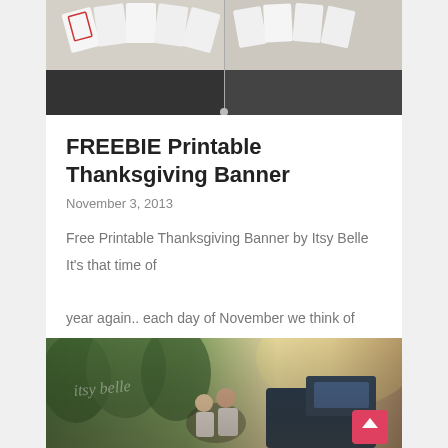[Figure (photo): Photo of printed Thanksgiving banner cards fanned out, showing illustrated characters and letters on white cards against dark background]
FREEBIE Printable Thanksgiving Banner
November 3, 2013
Free Printable Thanksgiving Banner by Itsy Belle It’s that time of year again.. each day of November we think of something we are Thankful for! ......
[Figure (photo): Couple sitting near a vintage truck in a forest/nature setting with warm light; Itsy Belle watermark visible; scroll-to-top button in bottom right corner]